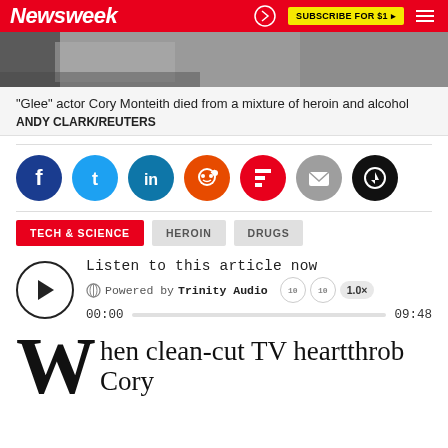Newsweek
[Figure (photo): Partial view of what appears to be a scene on pavement, cropped photo strip]
"Glee" actor Cory Monteith died from a mixture of heroin and alcohol
ANDY CLARK/REUTERS
[Figure (infographic): Social sharing icons: Facebook, Twitter, LinkedIn, Reddit, Flipboard, Email, Comment]
TECH & SCIENCE
HEROIN
DRUGS
[Figure (other): Audio player: Listen to this article now, Powered by Trinity Audio, 00:00 / 09:48, 1.0x speed]
When clean-cut TV heartthrob Cory